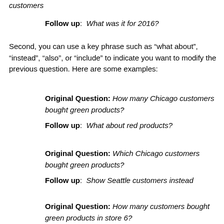Original Question: Show the total sales to Chicago customers
Follow up: What was it for 2016?
Second, you can use a key phrase such as “what about”, “instead”, “also”, or “include” to indicate you want to modify the previous question. Here are some examples:
Original Question: How many Chicago customers bought green products?
Follow up: What about red products?
Original Question: Which Chicago customers bought green products?
Follow up: Show Seattle customers instead
Original Question: How many customers bought green products in store 6?